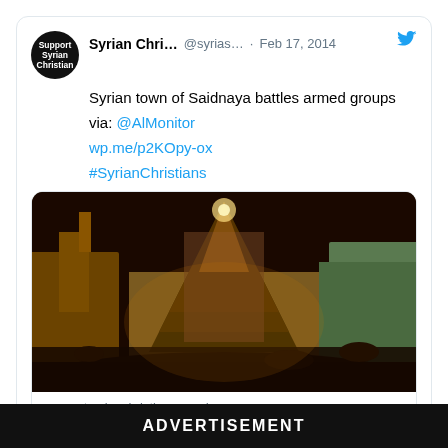[Figure (screenshot): Tweet from @syrias... (Syrian Chri...) dated Feb 17, 2014: 'Syrian town of Saidnaya battles armed groups' via: @AlMonitor, wp.me/p2KOpy-ox, #SyrianChristians, with a photo of a Christmas tree at night in front of a stone building, link preview to supportsyrianchristians.wordpress.com]
ADVERTISEMENT